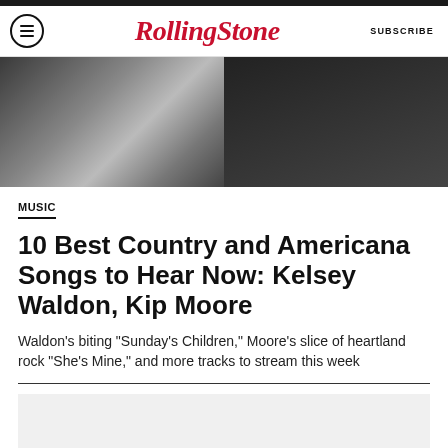Rolling Stone — SUBSCRIBE
[Figure (photo): Hero image split in two: left side shows a person holding something with a decorative belt, right side shows a dark figure in black clothing]
MUSIC
10 Best Country and Americana Songs to Hear Now: Kelsey Waldon, Kip Moore
Waldon's biting "Sunday's Children," Moore's slice of heartland rock "She's Mine," and more tracks to stream this week